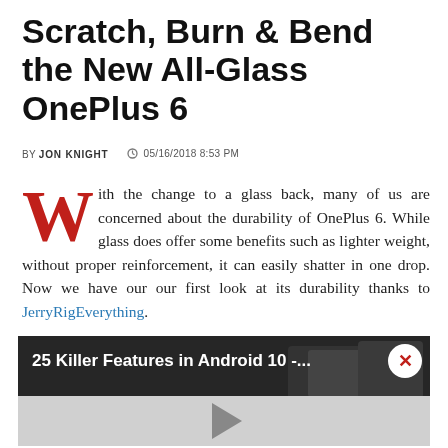Scratch, Burn & Bend the New All-Glass OnePlus 6
BY JON KNIGHT  05/16/2018 8:53 PM
With the change to a glass back, many of us are concerned about the durability of OnePlus 6. While glass does offer some benefits such as lighter weight, without proper reinforcement, it can easily shatter in one drop. Now we have our our first look at its durability thanks to JerryRigEverything.
[Figure (screenshot): Embedded video player showing '25 Killer Features in Android 10 -...' with a play button overlay and close button. Dark background with phone images visible.]